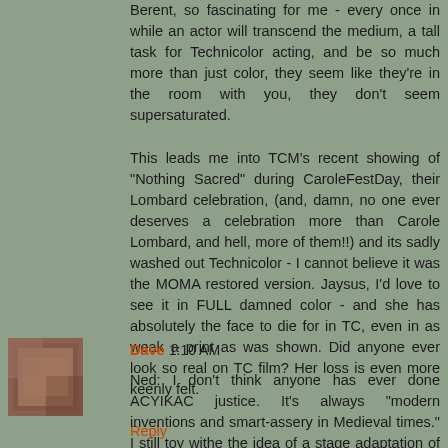Berent, so fascinating for me - every once in while an actor will transcend the medium, a tall task for Technicolor acting, and be so much more than just color, they seem like they're in the room with you, they don't seem supersaturated.
This leads me into TCM's recent showing of "Nothing Sacred" during CaroleFestDay, their Lombard celebration, (and, damn, no one ever deserves a celebration more than Carole Lombard, and hell, more of them!!) and its sadly washed out Technicolor - I cannot believe it was the MOMA restored version. Jaysus, I'd love to see it in FULL damned color - and she has absolutely the face to die for in TC, even in as weak a print as was shown. Did anyone ever look so real on TC film? Her loss is even more keenly felt.
Reply
Dave 1:10 AM
Ned: I don't think anyone has ever done ACYIKAC justice. It's always "modern inventions and smart-assery in Medieval times." I still toy withe the idea of a stage adaptation of the real book.